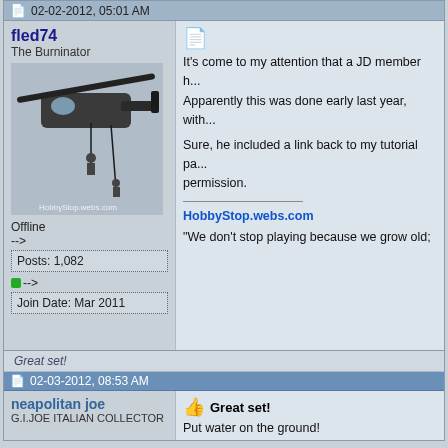02-02-2012, 05:01 AM
fled74
The Burninator
[Figure (photo): Avatar image showing soldiers rappelling from a military helicopter, with watermark HobbyStop.webs.com]
Offline
-->
Posts: 1,082
● -->
Join Date: Mar 2011
It's come to my attention that a JD member h... Apparently this was done early last year, with... Sure, he included a link back to my tutorial pa... permission.
HobbyStop.webs.com
"We don't stop playing because we grow old;
Great set!
02-03-2012, 08:53 AM
neapolitan joe
G.I.JOE ITALIAN COLLECTOR
Great set!
Put water on the ground!